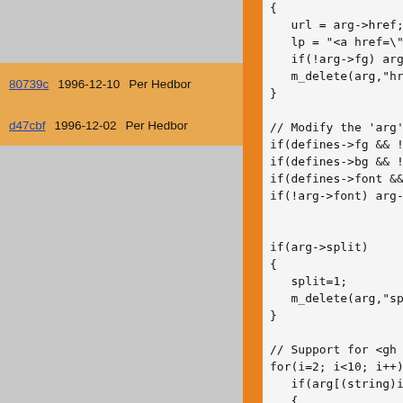80739c  1996-12-10  Per Hedbor
d47cbf  1996-12-02  Per Hedbor
[Figure (screenshot): Code viewer showing git blame/annotate output. Left panel shows commit hashes (80739c, d47cbf) with dates and author (Per Hedbor). Right panel shows C source code including url = arg->href, lp = "<a href=\""+ar, if(!arg->fg) arg->fg, m_delete(arg,"href"), comments and code blocks for split handling and gh2/gh1 support, for loop, arg->scale = 1.0 /, m_delete(arg, (str.]